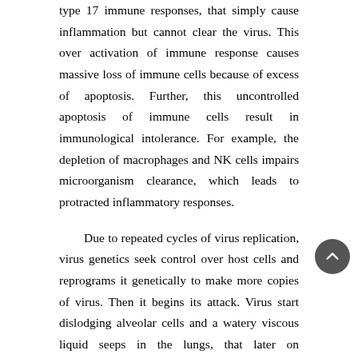type 17 immune responses, that simply cause inflammation but cannot clear the virus. This over activation of immune response causes massive loss of immune cells because of excess of apoptosis. Further, this uncontrolled apoptosis of immune cells result in immunological intolerance. For example, the depletion of macrophages and NK cells impairs microorganism clearance, which leads to protracted inflammatory responses.
Due to repeated cycles of virus replication, virus genetics seek control over host cells and reprograms it genetically to make more copies of virus. Then it begins its attack. Virus start dislodging alveolar cells and a watery viscous liquid seeps in the lungs, that later on precipitate become thick and dry to form hard layer of sputum on lung alveoli. It severely affects lung function and sputum chokes tiny air sacs, and prevent them from delivering oxygen to the blood removing carbon dioxide. It is this kind of inflammation and destruction that is called pneumonia. Blood vessels also got